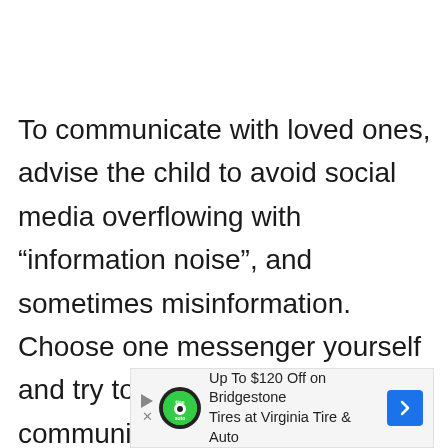To communicate with loved ones, advise the child to avoid social media overflowing with “information noise”, and sometimes misinformation. Choose one messenger yourself and try to transfer important communication there. It is better to avoid frequent visits to chats discussing the current situation in the world. It is enough to go there 1-
[Figure (other): Advertisement banner: Up To $120 Off on Bridgestone Tires at Virginia Tire & Auto, with a green BridgestoneTire Auto logo circle and a blue navigation arrow icon on the right.]